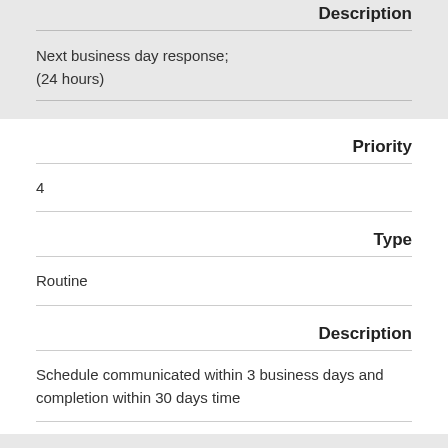Description
Next business day response; (24 hours)
Priority
4
Type
Routine
Description
Schedule communicated within 3 business days and completion within 30 days time